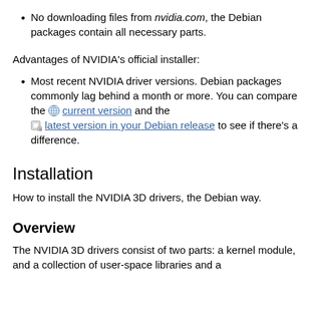No downloading files from nvidia.com, the Debian packages contain all necessary parts.
Advantages of NVIDIA's official installer:
Most recent NVIDIA driver versions. Debian packages commonly lag behind a month or more. You can compare the current version and the latest version in your Debian release to see if there's a difference.
Installation
How to install the NVIDIA 3D drivers, the Debian way.
Overview
The NVIDIA 3D drivers consist of two parts: a kernel module, and a collection of user-space libraries and a